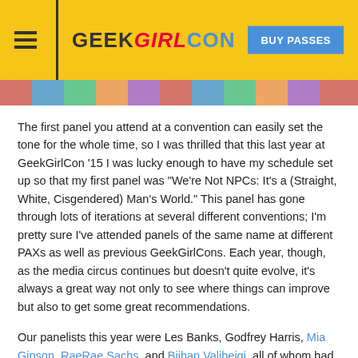GEEKGIRLCON | BUY PASSES
The first panel you attend at a convention can easily set the tone for the whole time, so I was thrilled that this last year at GeekGirlCon ’15 I was lucky enough to have my schedule set up so that my first panel was “We’re Not NPCs: It’s a (Straight, White, Cisgendered) Man’s World.” This panel has gone through lots of iterations at several different conventions; I’m pretty sure I’ve attended panels of the same name at different PAXs as well as previous GeekGirlCons. Each year, though, as the media circus continues but doesn’t quite evolve, it’s always a great way not only to see where things can improve but also to get some great recommendations.
Our panelists this year were Les Banks, Godfrey Harris, Mia Gipson, RaeRae Sachs, and Bijhan Valibeigi, all of whom had great things to add to the conversation.